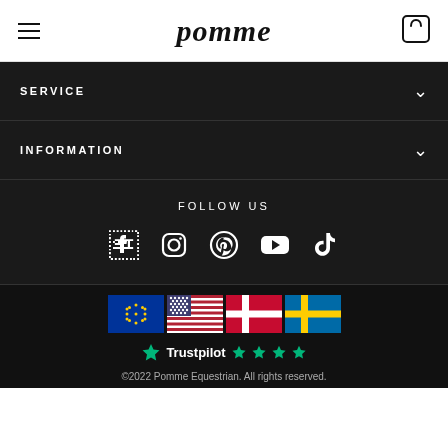pomme
SERVICE
INFORMATION
FOLLOW US
[Figure (illustration): Social media icons: Facebook, Instagram, Pinterest, YouTube, TikTok]
[Figure (illustration): Country flags: EU, USA, Denmark, Sweden; Trustpilot logo with 4.5 stars]
©2022 Pomme Equestrian. All rights reserved.